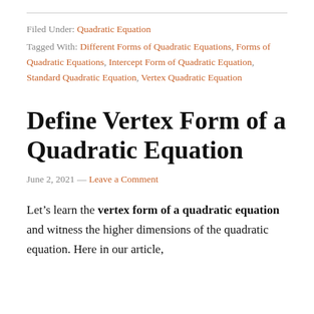Filed Under: Quadratic Equation
Tagged With: Different Forms of Quadratic Equations, Forms of Quadratic Equations, Intercept Form of Quadratic Equation, Standard Quadratic Equation, Vertex Quadratic Equation
Define Vertex Form of a Quadratic Equation
June 2, 2021 — Leave a Comment
Let's learn the vertex form of a quadratic equation and witness the higher dimensions of the quadratic equation. Here in our article,